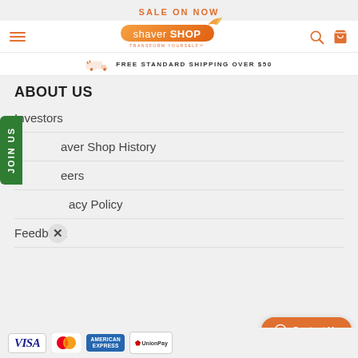SALE ON NOW
[Figure (logo): Shaver Shop logo with orange rounded rectangle background and bird/butterfly icon, tagline TRANSFORM YOURSELF]
FREE STANDARD SHIPPING OVER $50
ABOUT US
Investors
Shaver Shop History
Careers
Privacy Policy
Feedback
[Figure (screenshot): JOIN US green vertical sidebar tab with X close button]
[Figure (screenshot): Contact Us orange pill button with chat icon]
[Figure (screenshot): Payment method icons: VISA, MasterCard, American Express, UnionPay]